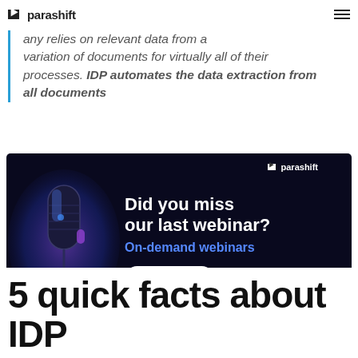parashift
any relies on relevant data from a variation of documents for virtually all of their processes. IDP automates the data extraction from all documents
[Figure (illustration): Dark banner ad for Parashift webinar. Left side shows a glowing blue/purple studio microphone on dark background. Right side shows text: 'Did you miss our last webinar?' in white bold, 'On-demand webinars' in blue, and a 'Watch now' button. Parashift logo in top right of banner.]
5 quick facts about IDP